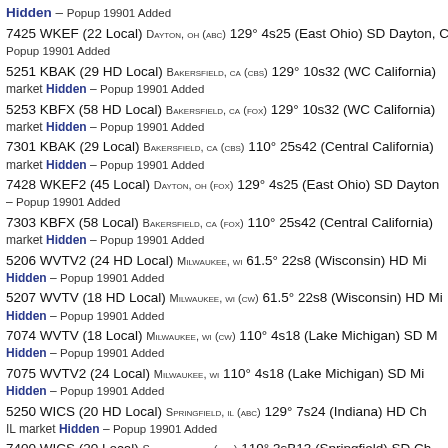Hidden – Popup 19901 Added
7425 WKEF (22 Local) DAYTON, OH (ABC) 129° 4s25 (East Ohio) SD Dayton, ... Popup 19901 Added
5251 KBAK (29 HD Local) BAKERSFIELD, CA (CBS) 129° 10s32 (WC California) market Hidden – Popup 19901 Added
5253 KBFX (58 HD Local) BAKERSFIELD, CA (FOX) 129° 10s32 (WC California) market Hidden – Popup 19901 Added
7301 KBAK (29 Local) BAKERSFIELD, CA (CBS) 110° 25s42 (Central California) market Hidden – Popup 19901 Added
7428 WKEF2 (45 Local) DAYTON, OH (FOX) 129° 4s25 (East Ohio) SD Dayton – Popup 19901 Added
7303 KBFX (58 Local) BAKERSFIELD, CA (FOX) 110° 25s42 (Central California) market Hidden – Popup 19901 Added
5206 WVTV2 (24 HD Local) MILWAUKEE, WI 61.5° 22s8 (Wisconsin) HD Mi Hidden – Popup 19901 Added
5207 WVTV (18 HD Local) MILWAUKEE, WI (CW) 61.5° 22s8 (Wisconsin) HD Mi Hidden – Popup 19901 Added
7074 WVTV (18 Local) MILWAUKEE, WI (CW) 110° 4s18 (Lake Michigan) SD Mi Hidden – Popup 19901 Added
7075 WVTV2 (24 Local) MILWAUKEE, WI 110° 4s18 (Lake Michigan) SD Mi Hidden – Popup 19901 Added
5250 WICS (20 HD Local) SPRINGFIELD, IL (ABC) 129° 7s24 (Indiana) HD Ch... IL market Hidden – Popup 19901 Added
7400 WICS (20 Local) SPRINGFIELD, IL (ABC) 119° 3sB13 (Springfield) SD Ch...